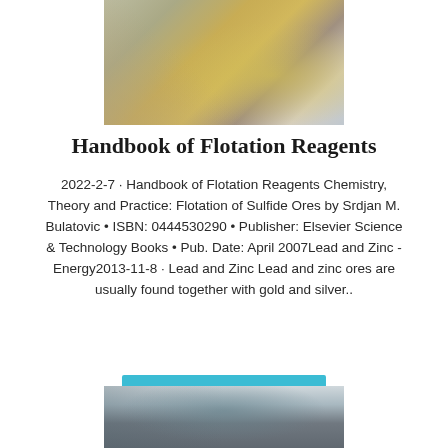[Figure (photo): Industrial mining/flotation facility with conveyor belts and yellow/gold equipment structures against a bright background]
Handbook of Flotation Reagents
2022-2-7 · Handbook of Flotation Reagents Chemistry, Theory and Practice: Flotation of Sulfide Ores by Srdjan M. Bulatovic • ISBN: 0444530290 • Publisher: Elsevier Science & Technology Books • Pub. Date: April 2007Lead and Zinc - Energy2013-11-8 · Lead and Zinc Lead and zinc ores are usually found together with gold and silver..
inquiry@shanghaimeilan
[Figure (photo): Industrial equipment inside a facility, showing pipes or mechanical structures viewed from below]